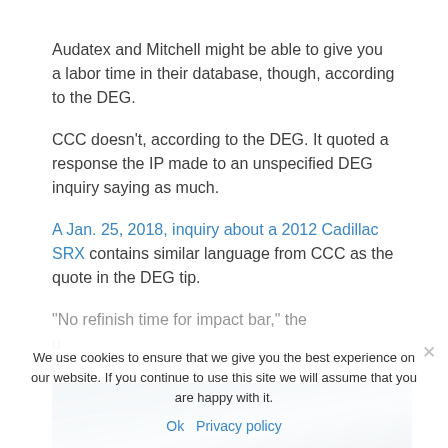Audatex and Mitchell might be able to give you a labor time in their database, though, according to the DEG.
CCC doesn't, according to the DEG. It quoted a response the IP made to an unspecified DEG inquiry saying as much.
A Jan. 25, 2018, inquiry about a 2012 Cadillac SRX contains similar language from CCC as the quote in the DEG tip.
“No refinish time for impact bar,” the u... p...
[Figure (photo): Partial image of a vehicle or related scene, cut off at bottom of page]
We use cookies to ensure that we give you the best experience on our website. If you continue to use this site we will assume that you are happy with it.
Ok   Privacy policy